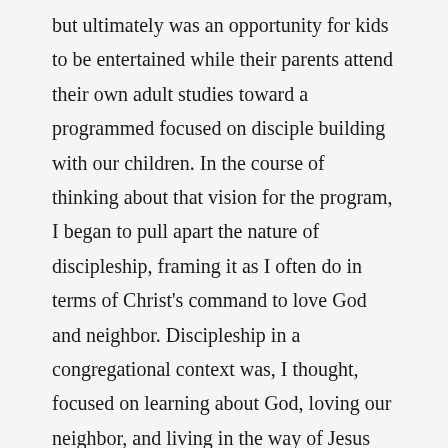but ultimately was an opportunity for kids to be entertained while their parents attend their own adult studies toward a programmed focused on disciple building with our children. In the course of thinking about that vision for the program, I began to pull apart the nature of discipleship, framing it as I often do in terms of Christ's command to love God and neighbor. Discipleship in a congregational context was, I thought, focused on learning about God, loving our neighbor, and living in the way of Jesus (that is, living a life that was formed and guided by the teaching and example of Jesus Christ). Yet, in the midst of that vision I began to realize that I was missing on a key component of Christian community – the fellowship of the believers (described in Acts 2 and 4). It was clear to me that the